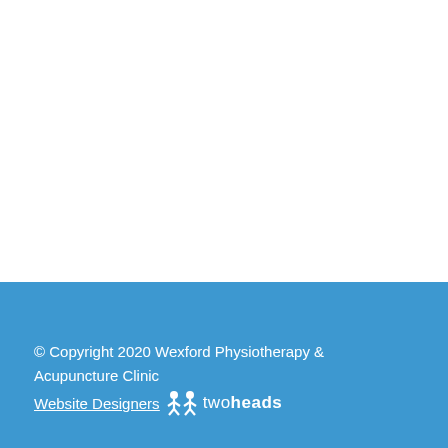© Copyright 2020 Wexford Physiotherapy & Acupuncture Clinic Website Designers twoheads